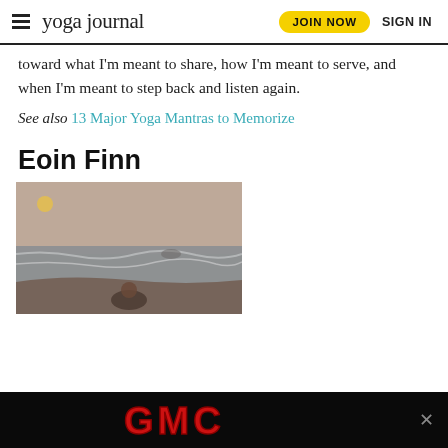yoga journal | JOIN NOW | SIGN IN
toward what I'm meant to share, how I'm meant to serve, and when I'm meant to step back and listen again.
See also 13 Major Yoga Mantras to Memorize
Eoin Finn
[Figure (photo): A person crouching on a dark sandy beach near ocean waves, with a hazy sky and a small yellow circle (sun or moon) visible in the upper left.]
[Figure (logo): GMC logo advertisement banner on black background with a close (x) button on the right.]